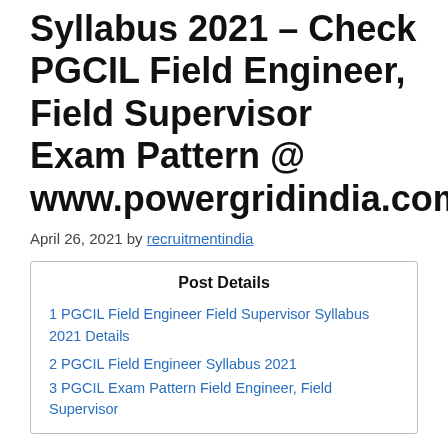Syllabus 2021 – Check PGCIL Field Engineer, Field Supervisor Exam Pattern @ www.powergridindia.com
April 26, 2021 by recruitmentindia
Post Details
1 PGCIL Field Engineer Field Supervisor Syllabus 2021 Details
2 PGCIL Field Engineer Syllabus 2021
3 PGCIL Exam Pattern Field Engineer, Field Supervisor